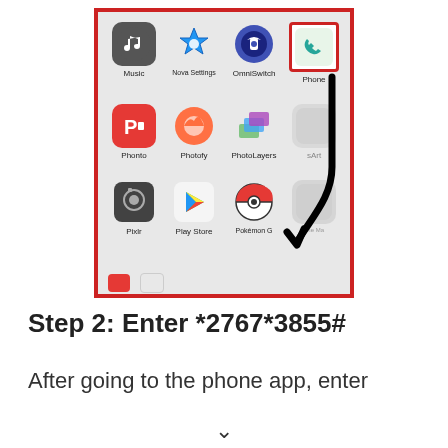[Figure (screenshot): Android phone app drawer screenshot showing app icons: Music, Nova Settings, OmniSwitch, Phone (highlighted with red border), Phonto, Photofy, PhotoLayers, PicsArt, Pixlr, Play Store, Pokémon Go, Phone Maker. A black curved arrow points to the Phone app icon. The screenshot itself has a red border.]
Step 2: Enter *2767*3855#
After going to the phone app, enter